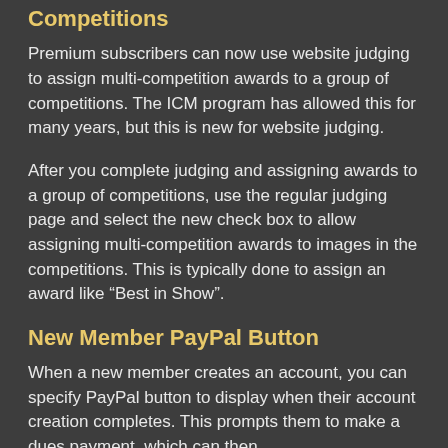Competitions
Premium subscribers can now use website judging to assign multi-competition awards to a group of competitions. The ICM program has allowed this for many years, but this is new for website judging.
After you complete judging and assigning awards to a group of competitions, use the regular judging page and select the new check box to allow assigning multi-competition awards to images in the competitions. This is typically done to assign an award like "Best in Show".
New Member PayPal Button
When a new member creates an account, you can specify PayPal button to display when their account creation completes. This prompts them to make a dues payment, which can then